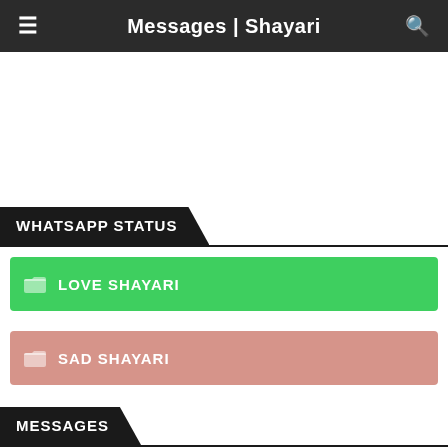Messages | Shayari
[Figure (other): Advertisement placeholder area (white space)]
WHATSAPP STATUS
LOVE SHAYARI
SAD SHAYARI
MESSAGES
FUNNY JOKES